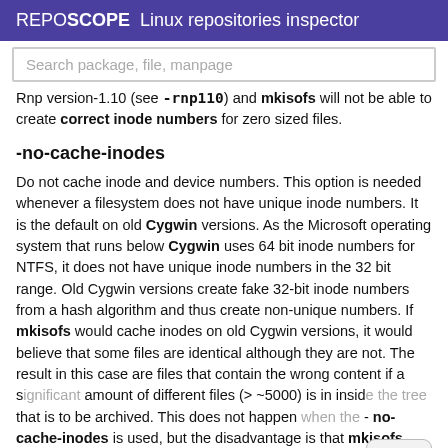REPOSCOPE  Linux repositories inspector
Search package, file, manpage
Rnp version-1.10 (see -rnp110) and mkisofs will not be able to create correct inode numbers for zero sized files.
-no-cache-inodes
Do not cache inode and device numbers. This option is needed whenever a filesystem does not have unique inode numbers. It is the default on old Cygwin versions. As the Microsoft operating system that runs below Cygwin uses 64 bit inode numbers for NTFS, it does not have unique inode numbers in the 32 bit range. Old Cygwin versions create fake 32-bit inode numbers from a hash algorithm and thus create non-unique numbers. If mkisofs would cache inodes on old Cygwin versions, it would believe that some files are identical although they are not. The result in this case are files that contain the wrong content if a significant amount of different files (> ~5000) is in inside the tree that is to be archived. This does not happen when the -no-cache-inodes is used, but the disadvantage is that mkisofs cannot detect hardlinks anymore and the